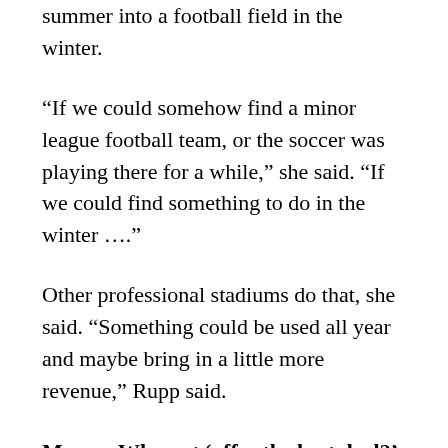summer into a football field in the winter.
“If we could somehow find a minor league football team, or the soccer was playing there for a while,” she said. “If we could find something to do in the winter ….”
Other professional stadiums do that, she said. “Something could be used all year and maybe bring in a little more revenue,” Rupp said.
Mayor: Why not ‘offer the best deal?’
Mayor Mark Holland said his thoughts were why not offer their best deal to their best partners. In 15 years, the T-Bones have